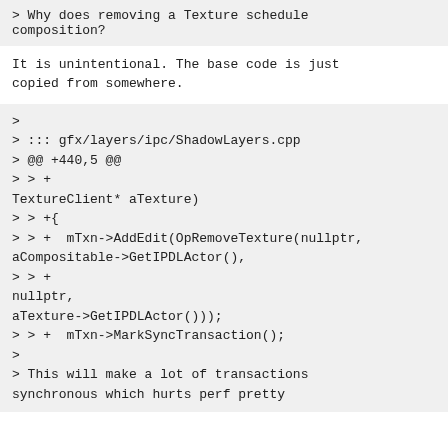> Why does removing a Texture schedule composition?
It is unintentional. The base code is just copied from somewhere.
>
> ::: gfx/layers/ipc/ShadowLayers.cpp
> @@ +440,5 @@
> > +
TextureClient* aTexture)
> > +{
> > +  mTxn->AddEdit(OpRemoveTexture(nullptr,
aCompositable->GetIPDLActor(),
> > +                                            nullptr,
aTexture->GetIPDLActor()));
> > +  mTxn->MarkSyncTransaction();
>
> This will make a lot of transactions
synchronous which hurts perf pretty